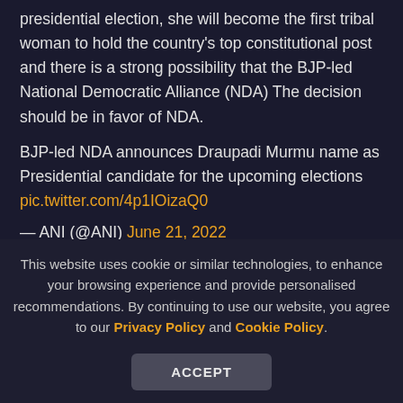presidential election, she will become the first tribal woman to hold the country's top constitutional post and there is a strong possibility that the BJP-led National Democratic Alliance (NDA) The decision should be in favor of NDA.
BJP-led NDA announces Draupadi Murmu name as Presidential candidate for the upcoming elections
pic.twitter.com/4p1IOizaQ0
— ANI (@ANI) June 21, 2022
Nomination filing
Voting to choose the next President of the country will be
This website uses cookie or similar technologies, to enhance your browsing experience and provide personalised recommendations. By continuing to use our website, you agree to our Privacy Policy and Cookie Policy.
ACCEPT